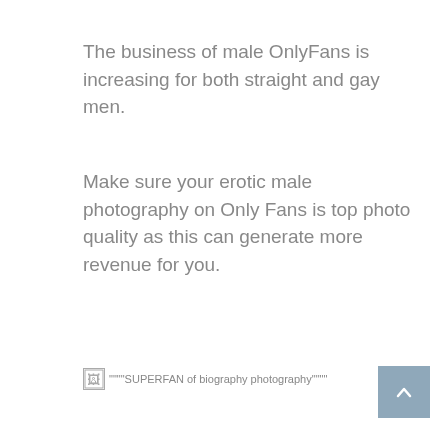The business of male OnlyFans is increasing for both straight and gay men.
Make sure your erotic male photography on Only Fans is top photo quality as this can generate more revenue for you.
[Figure (other): Broken image placeholder with alt text about photography]
[Figure (other): Scroll to top button with upward chevron arrow, steel blue color]